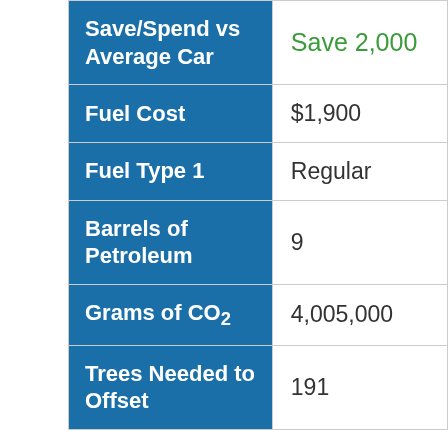| Label | Value |
| --- | --- |
| Save/Spend vs Average Car | Save 2,000 |
| Fuel Cost | $1,900 |
| Fuel Type 1 | Regular |
| Barrels of Petroleum | 9 |
| Grams of CO2 | 4,005,000 |
| Trees Needed to Offset | 191 |